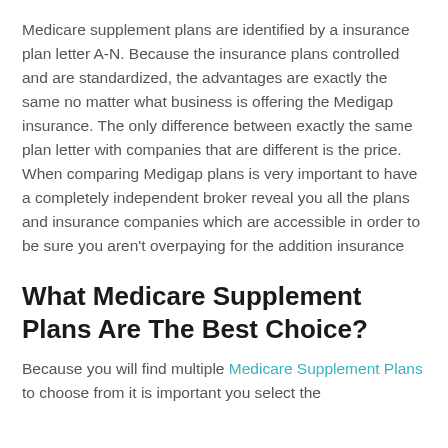Medicare supplement plans are identified by a insurance plan letter A-N. Because the insurance plans controlled and are standardized, the advantages are exactly the same no matter what business is offering the Medigap insurance. The only difference between exactly the same plan letter with companies that are different is the price. When comparing Medigap plans is very important to have a completely independent broker reveal you all the plans and insurance companies which are accessible in order to be sure you aren't overpaying for the addition insurance
What Medicare Supplement Plans Are The Best Choice?
Because you will find multiple Medicare Supplement Plans to choose from it is important you select the